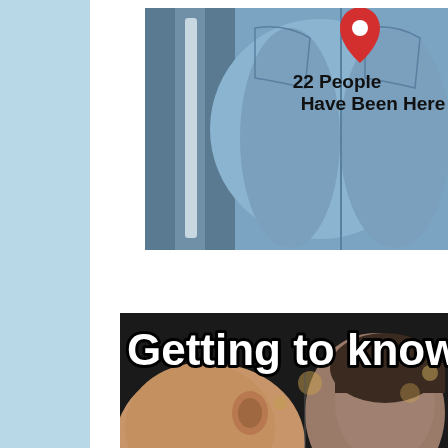[Figure (photo): A meme image showing a person in blue jeans from behind with a Google Maps location pin overlay and text reading '22 People Have Been Here']
[Figure (photo): A meme image showing two people face to face with bold white text reading 'Getting to know' overlaid at the top]